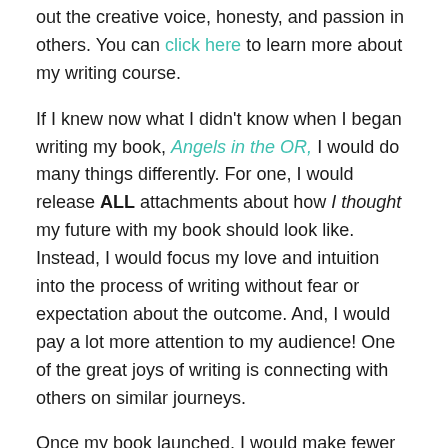out the creative voice, honesty, and passion in others. You can click here to learn more about my writing course.
If I knew now what I didn't know when I began writing my book, Angels in the OR, I would do many things differently. For one, I would release ALL attachments about how I thought my future with my book should look like. Instead, I would focus my love and intuition into the process of writing without fear or expectation about the outcome. And, I would pay a lot more attention to my audience! One of the great joys of writing is connecting with others on similar journeys.
Once my book launched, I would make fewer posts about the book launch, and make more posts about